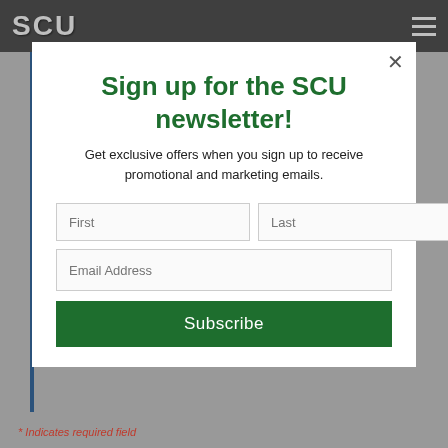[Figure (screenshot): SCU university website header with logo and hamburger menu on dark grey background]
Sign up for the SCU newsletter!
Get exclusive offers when you sign up to receive promotional and marketing emails.
[Figure (screenshot): Newsletter signup form with First, Last, Email Address fields and Subscribe button]
* Indicates required field